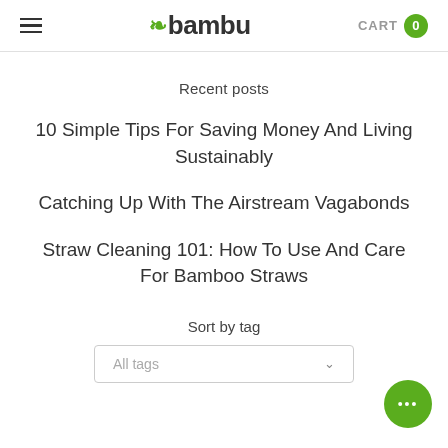bambu | CART 0
Recent posts
10 Simple Tips For Saving Money And Living Sustainably
Catching Up With The Airstream Vagabonds
Straw Cleaning 101: How To Use And Care For Bamboo Straws
Sort by tag
All tags